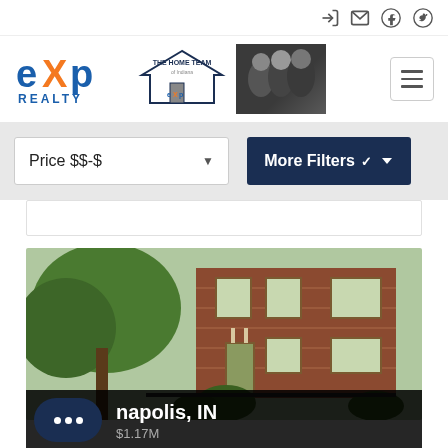[Figure (logo): eXp Realty logo with The Home Team of Indiana branding and team photo]
Price $$-$
More Filters
[Figure (photo): Brick two-story house with large green trees in Indianapolis, IN]
napolis, IN
$1.17M